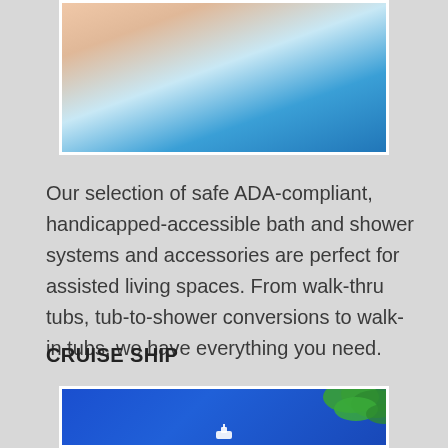[Figure (photo): Close-up photo of a person with a light blue collar, pink hat, viewed from below — likely an elderly person in an assisted living context]
Our selection of safe ADA-compliant, handicapped-accessible bath and shower systems and accessories are perfect for assisted living spaces. From walk-thru tubs, tub-to-shower conversions to walk-in tubs, we have everything you need.
CRUISE SHIP
[Figure (photo): Photo of a bright blue sky with green tropical palm tree fronds visible in the upper right, and a small white cruise ship visible near the bottom center]